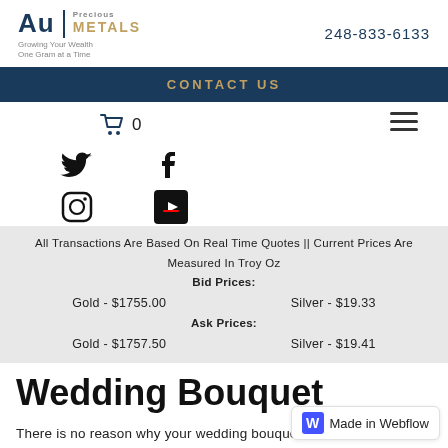Au Precious Metals | Growing Your Wealth One Gram at a Time | 248-833-6133
CONTACT US
0 (cart)
[Figure (infographic): Social media icons: Twitter, Facebook, Instagram, YouTube]
All Transactions Are Based On Real Time Quotes || Current Prices Are Measured In Troy Oz
Bid Prices:
Gold - $1755.00   Silver - $19.33
Ask Prices:
Gold - $1757.50   Silver - $19.41
Wedding Bouquet
There is no reason why your wedding bouquet must contain flowers. A stunning jeweled bouquet can be made with old je... base. An old locket could be adde...